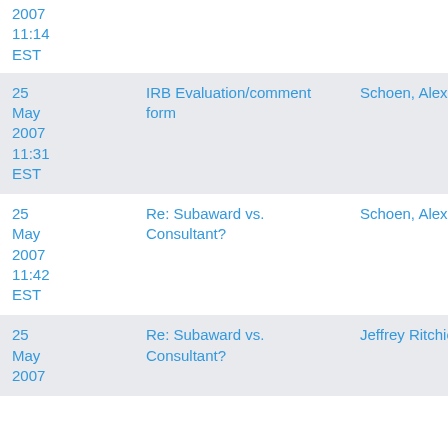| Date | Subject | From |
| --- | --- | --- |
| 25 May 2007 11:14 EST |  |  |
| 25 May 2007 11:31 EST | IRB Evaluation/comment form | Schoen, Alexander |
| 25 May 2007 11:42 EST | Re: Subaward vs. Consultant? | Schoen, Alexander |
| 25 May 2007 | Re: Subaward vs. Consultant? | Jeffrey Ritchie |